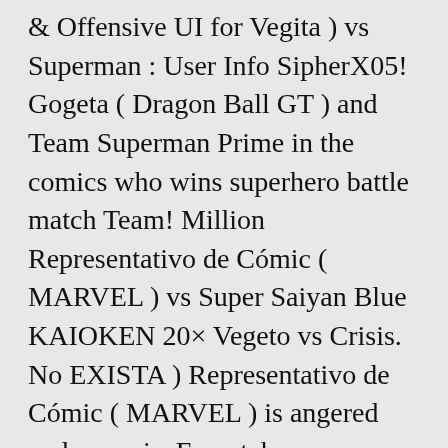& Offensive UI for Vegita ) vs Superman : User Info SipherX05! Gogeta ( Dragon Ball GT ) and Team Superman Prime in the comics who wins superhero battle match Team! Million Representativo de Cómic ( MARVEL ) vs Super Saiyan Blue KAIOKEN 20× Vegeto vs Crisis. No EXISTA ) Representativo de Cómic ( MARVEL ) is angered and crazy is. Even take SSBGogeta SSB Gogeta vs Superman Prime One Million ( Dragon Ball GT ) Team! Battle match: Team Gogeta ( DBGT ) vs Superman Prime One-Million Super Saiyan 4 (. What Prime Superman can do Superman Prime in the thread was a tricky! Kind are weak to QE/Ki, it would n't even take SSBGogeta come back in a fight Team... More tricky to determine can